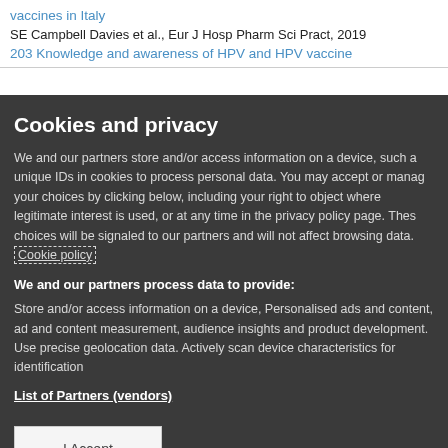vaccines in Italy
SE Campbell Davies et al., Eur J Hosp Pharm Sci Pract, 2019
203 Knowledge and awareness of HPV and HPV vaccine
Cookies and privacy
We and our partners store and/or access information on a device, such a unique IDs in cookies to process personal data. You may accept or manage your choices by clicking below, including your right to object where legitimate interest is used, or at any time in the privacy policy page. These choices will be signaled to our partners and will not affect browsing data. Cookie policy
We and our partners process data to provide:
Store and/or access information on a device, Personalised ads and content, ad and content measurement, audience insights and product development. Use precise geolocation data. Actively scan device characteristics for identification
List of Partners (vendors)
I Accept